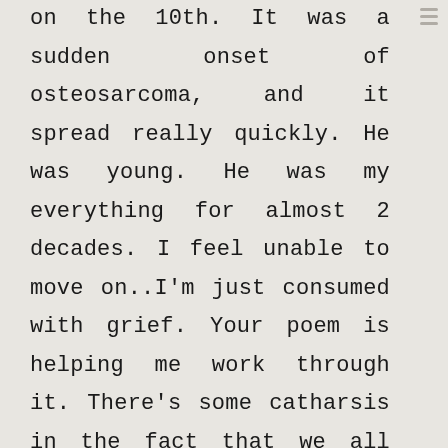on the 10th. It was a sudden onset of osteosarcoma, and it spread really quickly. He was young. He was my everything for almost 2 decades. I feel unable to move on..I'm just consumed with grief. Your poem is helping me work through it. There's some catharsis in the fact that we all experience the same emotions sometimes